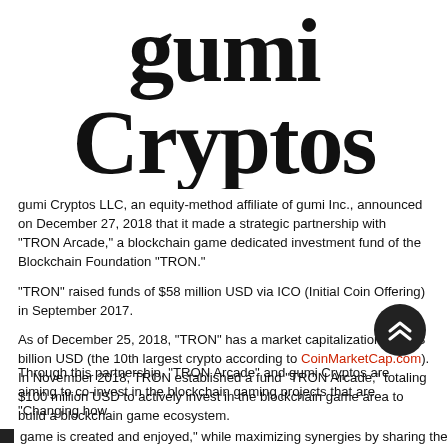gumi Cryptos
gumi Cryptos LLC, an equity-method affiliate of gumi Inc., announced on December 27, 2018 that it made a strategic partnership with “TRON Arcade,” a blockchain game dedicated investment fund of the Blockchain Foundation "TRON."
"TRON" raised funds of $58 million USD via ICO (Initial Coin Offering) in September 2017.
As of December 25, 2018, "TRON" has a market capitalization of $1.3 billion USD (the 10th largest crypto according to CoinMarketCap.com). In November 2018, TRON established a fund "TRON Arcade," totaling $100 million USD to actively invest in the blockchain game area to build a blockchain game ecosystem.
Through this partnership, "TRON Arcade" and gumi Cryptos are aiming to co-invest in the blockchain gaming projects that are "Changing how game is created and enjoyed," while maximizing synergies by sharing the